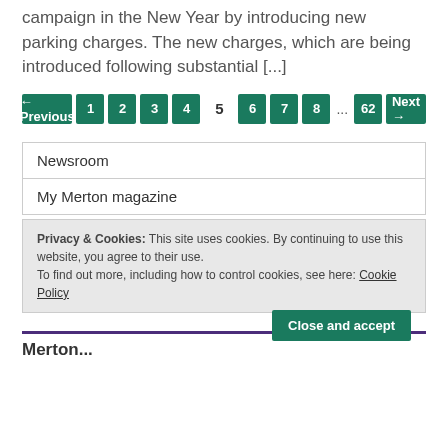campaign in the New Year by introducing new parking charges. The new charges, which are being introduced following substantial [...]
← Previous 1 2 3 4 5 6 7 8 ... 62 Next →
Newsroom
My Merton magazine
Privacy & Cookies: This site uses cookies. By continuing to use this website, you agree to their use.
To find out more, including how to control cookies, see here: Cookie Policy
Merton ...